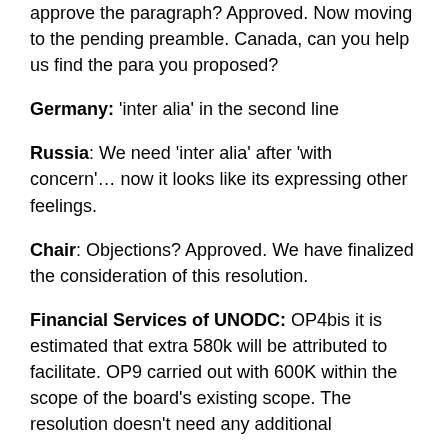approve the paragraph? Approved. Now moving to the pending preamble. Canada, can you help us find the para you proposed?
Germany: 'inter alia' in the second line
Russia: We need 'inter alia' after 'with concern'… now it looks like its expressing other feelings.
Chair: Objections? Approved. We have finalized the consideration of this resolution.
Financial Services of UNODC: OP4bis it is estimated that extra 580k will be attributed to facilitate. OP9 carried out with 600K within the scope of the board's existing scope. The resolution doesn't need any additional